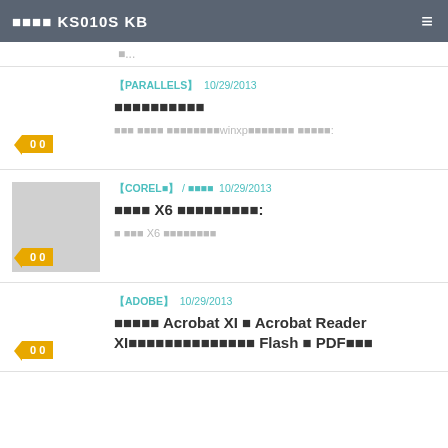■■■■ KS010S KB  ≡
■...
【PARALLELS】  10/29/2013
■■■■■■■■■■
■■■ ■■■■ ■■■■■■■■winxp■■■■■■■ ■■■■■:
【COREL■】 / ■■■■  10/29/2013
■■■■ X6 ■■■■■■■■■:
■■■■ X6 ■■■■■■■■
【ADOBE】  10/29/2013
■■■■■ Acrobat XI ■ Acrobat Reader XI■■■■■■■■■■■■■■ Flash ■ PDF■■■